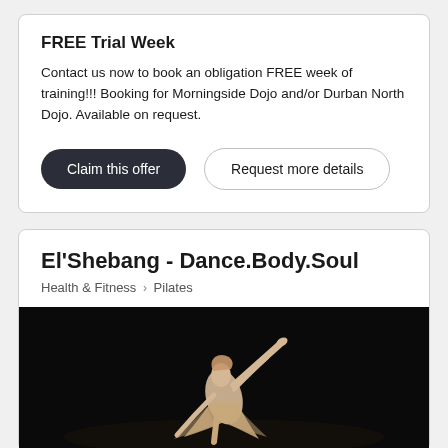FREE Trial Week
Contact us now to book an obligation FREE week of training!!! Booking for Morningside Dojo and/or Durban North Dojo. Available on request.
Claim this offer | Request more details
El'Shebang - Dance.Body.Soul
Health & Fitness > Pilates
[Figure (photo): A dancer in a white dress performing an artistic backbend pose on a dark stage background.]